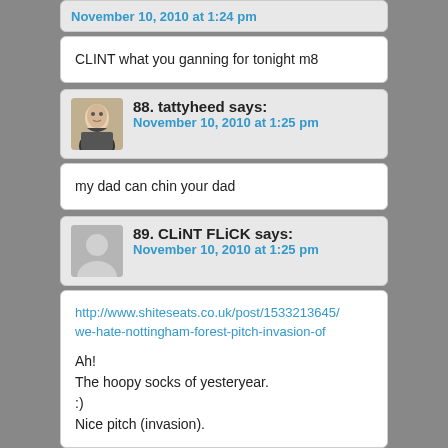November 10, 2010 at 1:24 pm
CLINT what you ganning for tonight m8
88. tattyheed says: November 10, 2010 at 1:25 pm
my dad can chin your dad
89. CLiNT FLiCK says: November 10, 2010 at 1:25 pm
http://www.shiteseats.co.uk/post/1533213645/we-hate-nottingham-forest-pitch-invasion-of

Ah!
The hoopy socks of yesteryear.
:)
Nice pitch (invasion).